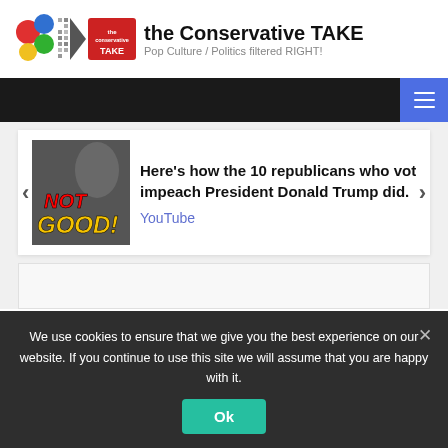[Figure (logo): The Conservative TAKE website logo with colorful circles and megaphone graphic]
the Conservative TAKE
Pop Culture / Politics filtered RIGHT!
[Figure (screenshot): Navigation bar with dark background and blue hamburger menu button]
[Figure (photo): Thumbnail image showing woman's face with NOT GOOD! text overlay in red and yellow]
Here's how the 10 republicans who voted to impeach President Donald Trump did.
YouTube
We use cookies to ensure that we give you the best experience on our website. If you continue to use this site we will assume that you are happy with it.